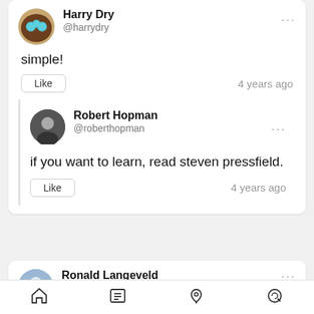Harry Dry @harrydry
simple!
Like   4 years ago
Robert Hopman @roberthopman
if you want to learn, read steven pressfield.
Like   4 years ago
Ronald Langeveld @ronaldl93
Write a lot - often thought provoking /